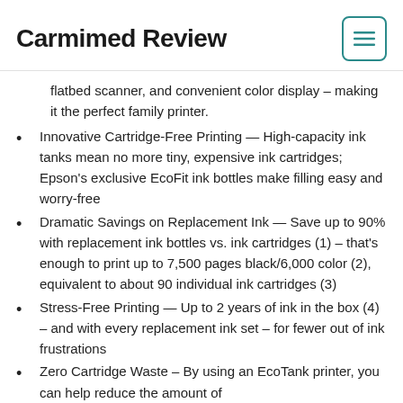Carmimed Review
flatbed scanner, and convenient color display – making it the perfect family printer.
Innovative Cartridge-Free Printing — High-capacity ink tanks mean no more tiny, expensive ink cartridges; Epson's exclusive EcoFit ink bottles make filling easy and worry-free
Dramatic Savings on Replacement Ink — Save up to 90% with replacement ink bottles vs. ink cartridges (1) – that's enough to print up to 7,500 pages black/6,000 color (2), equivalent to about 90 individual ink cartridges (3)
Stress-Free Printing — Up to 2 years of ink in the box (4) – and with every replacement ink set – for fewer out of ink frustrations
Zero Cartridge Waste – By using an EcoTank printer, you can help reduce the amount of